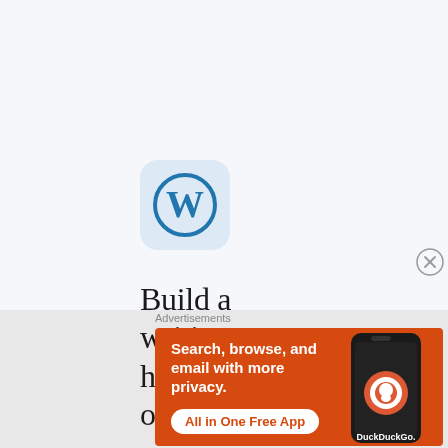[Figure (logo): WordPress app icon — rounded square with light blue background and white 'W' WordPress logo mark]
Build a writing habit. Post on the go
[Figure (screenshot): Close button (X circle) in the top-right corner]
Advertisements
[Figure (infographic): DuckDuckGo advertisement banner: orange background, white bold text 'Search, browse, and email with more privacy.' with white 'All in One Free App' button pill, and a smartphone showing DuckDuckGo app icon on the right]